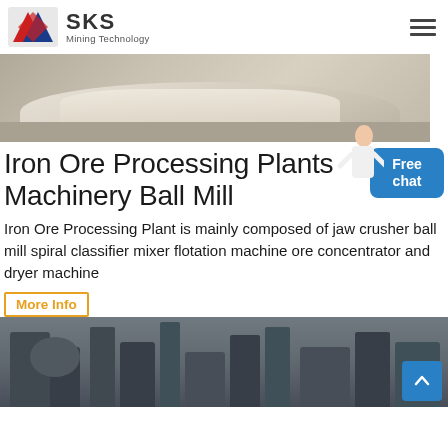SKS Mining Technology
[Figure (photo): Industrial machinery or equipment on a factory floor, showing a large white structure]
Iron Ore Processing Plants Machinery Ball Mill
Iron Ore Processing Plant is mainly composed of jaw crusher ball mill spiral classifier mixer flotation machine ore concentrator and dryer machine
More Info
[Figure (photo): Industrial processing plant machinery with metal tanks and structural framework inside a factory building]